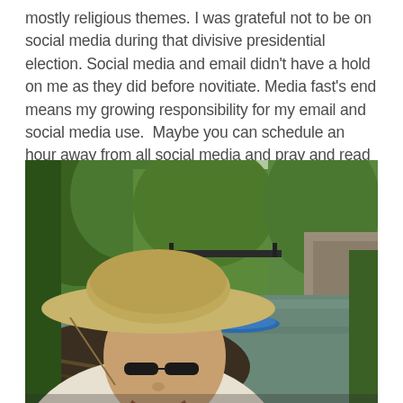mostly religious themes. I was grateful not to be on social media during that divisive presidential election. Social media and email didn't have a hold on me as they did before novitiate. Media fast's end means my growing responsibility for my email and social media use. Maybe you can schedule an hour away from all social media and pray and read the Bible.
[Figure (photo): Selfie photo of a man wearing a wide-brimmed hat and glasses, smiling at the camera. He is on a river or creek with lush green trees on both sides, a blue kayak visible in the middle distance, a bridge in the background, and rocky banks.]